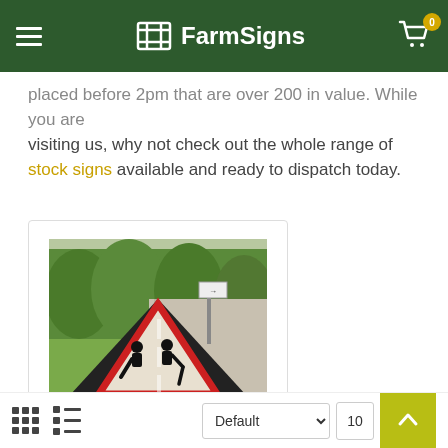FarmSigns
placed before 2pm that are over 200 in value. While you are visiting us, why not check out the whole range of stock signs available and ready to dispatch today.
[Figure (photo): Road works roll-up triangular warning sign displayed on a road side with green hedge background]
Roll-Up Road Signs
Default | 10